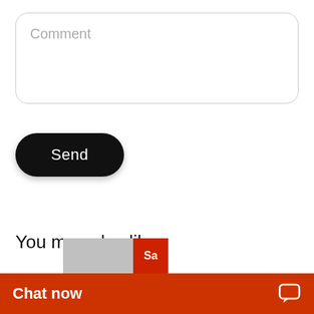[Figure (screenshot): Comment input text box with rounded corners and gray border, with placeholder text 'Comment']
[Figure (screenshot): Black rounded pill-shaped Send button]
You may also like
[Figure (screenshot): Bottom chat bar with orange/red background showing 'Chat now' text and chat bubble icon, with partial product image above]